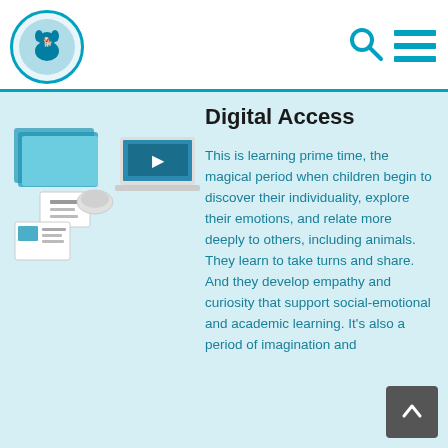[Figure (logo): Circular logo with dog illustration, teal border, educational curriculum branding]
[Figure (screenshot): Product images showing educational curriculum materials — printed cards, books, and a laptop with video content]
Digital Access
This is learning prime time, the magical period when children begin to discover their individuality, explore their emotions, and relate more deeply to others, including animals. They learn to take turns and share. And they develop empathy and curiosity that support social-emotional and academic learning. It's also a period of imagination and